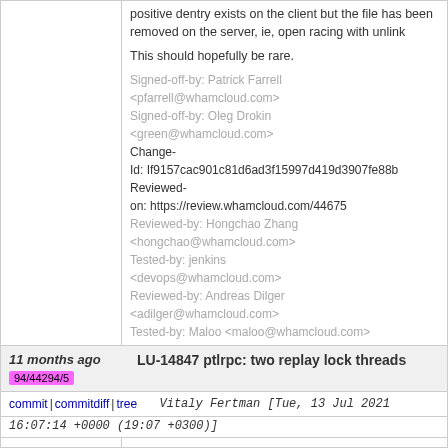positive dentry exists on the client but the file has been removed on the server, ie, open racing with unlink

This should hopefully be rare.
Signed-off-by: Patrick Farrell <pfarrell@whamcloud.com>
Signed-off-by: Oleg Drokin <green@whamcloud.com>
Change-Id: If9157cac901c81d6ad3f15997d419d3907fe88b
Reviewed-on: https://review.whamcloud.com/44675
Reviewed-by: Hongchao Zhang <hongchao@whamcloud.com>
Tested-by: jenkins <devops@whamcloud.com>
Reviewed-by: Andreas Dilger <adilger@whamcloud.com>
Tested-by: Maloo <maloo@whamcloud.com>
11 months ago
94/44294/5
LU-14847 ptlrpc: two replay lock threads
commit | commitdiff | tree
Vitaly Fertman [Tue, 13 Jul 2021 16:07:14 +0000 (19:07 +0300)]
LU-14847 ptlrpc: two replay lock threads

conflict to each other what leads to:
    ASSERTION( atomic_read(&imp-